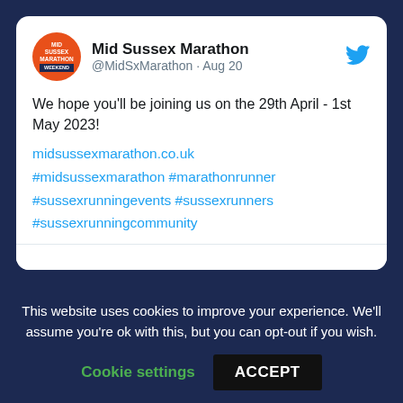[Figure (screenshot): Tweet card from Mid Sussex Marathon (@MidSxMarathon) dated Aug 20, showing a circular orange logo with white text 'MID SUSSEX MARATHON WEEKEND' and a navy segment, Twitter bird icon in blue, tweet text about joining on 29th April - 1st May 2023, and hashtag links.]
We hope you'll be joining us on the 29th April - 1st May 2023!
midsussexmarathon.co.uk
#midsussexmarathon #marathonrunner
#sussexrunningevents #sussexrunners
#sussexrunningcommunity
This website uses cookies to improve your experience. We'll assume you're ok with this, but you can opt-out if you wish.
Cookie settings  ACCEPT